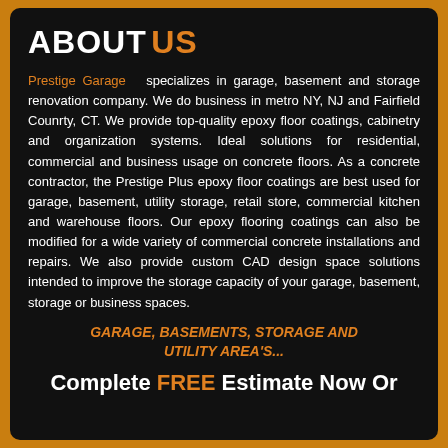ABOUT US
Prestige Garage  specializes in garage, basement and storage renovation company. We do business in metro NY, NJ and Fairfield Counrty, CT. We provide top-quality epoxy floor coatings, cabinetry and organization systems. Ideal solutions for residential, commercial and business usage on concrete floors. As a concrete contractor, the Prestige Plus epoxy floor coatings are best used for garage, basement, utility storage, retail store, commercial kitchen and warehouse floors. Our epoxy flooring coatings can also be modified for a wide variety of commercial concrete installations and repairs. We also provide custom CAD design space solutions intended to improve the storage capacity of your garage, basement, storage or business spaces.
GARAGE, BASEMENTS, STORAGE AND UTILITY AREA'S...
Complete FREE Estimate Now Or